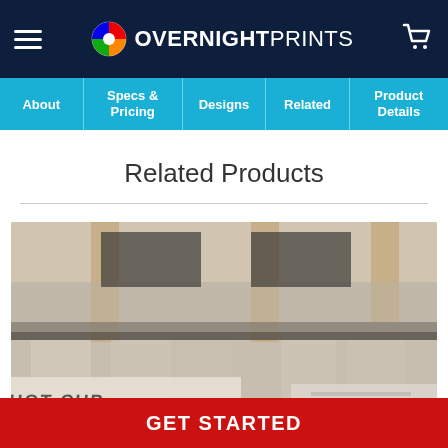Overnight Prints - navigation header with hamburger menu and cart
About | Specs & Pricing | Designs | Related | Product Details
Related Products
[Figure (photo): Blurred photo of a bar or café scene showing stools and what appears to be a cup with text 'HOT CUP' visible in the foreground]
GET STARTED